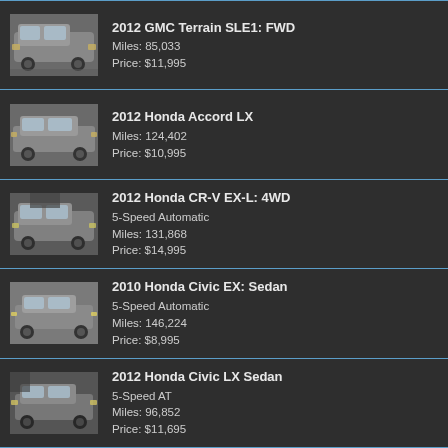2012 GMC Terrain SLE1: FWD
Miles: 85,033
Price: $11,995
2012 Honda Accord LX
Miles: 124,402
Price: $10,995
2012 Honda CR-V EX-L: 4WD 5-Speed Automatic
Miles: 131,868
Price: $14,995
2010 Honda Civic EX: Sedan 5-Speed Automatic
Miles: 146,224
Price: $8,995
2012 Honda Civic LX Sedan 5-Speed AT
Miles: 96,852
Price: $11,695